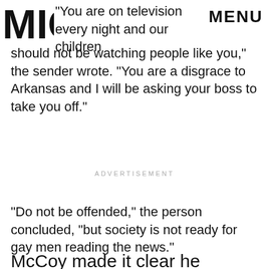MIC MENU
"You are on television every night and our children should not be watching people like you," the sender wrote. "You are a disgrace to Arkansas and I will be asking your boss to take you off."
ADVERTISEMENT
"Do not be offended," the person concluded, "but society is not ready for gay men reading the news."
McCoy made it clear he wouldn't be